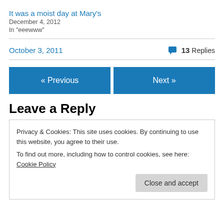It was a moist day at Mary's
December 4, 2012
In "eeewww"
October 3, 2011    💬 13 Replies
« Previous
Next »
Leave a Reply
Privacy & Cookies: This site uses cookies. By continuing to use this website, you agree to their use.
To find out more, including how to control cookies, see here: Cookie Policy
Close and accept